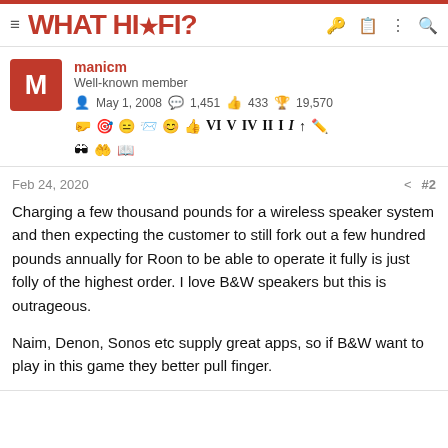WHAT HI-FI?
manicm
Well-known member
May 1, 2008  1,451  433  19,570
Feb 24, 2020  #2
Charging a few thousand pounds for a wireless speaker system and then expecting the customer to still fork out a few hundred pounds annually for Roon to be able to operate it fully is just folly of the highest order. I love B&W speakers but this is outrageous.

Naim, Denon, Sonos etc supply great apps, so if B&W want to play in this game they better pull finger.